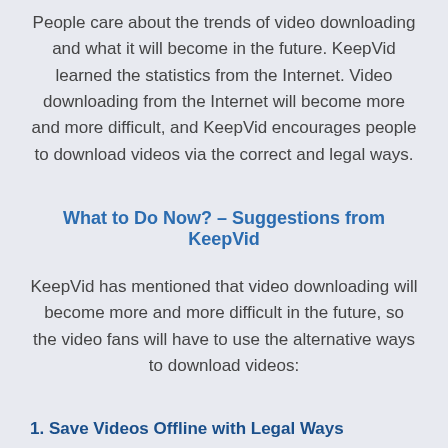People care about the trends of video downloading and what it will become in the future. KeepVid learned the statistics from the Internet. Video downloading from the Internet will become more and more difficult, and KeepVid encourages people to download videos via the correct and legal ways.
What to Do Now? – Suggestions from KeepVid
KeepVid has mentioned that video downloading will become more and more difficult in the future, so the video fans will have to use the alternative ways to download videos:
1. Save Videos Offline with Legal Ways
If you want to save videos for offline enjoyment, KeepVid suggests you to use YouTube Go, the official video